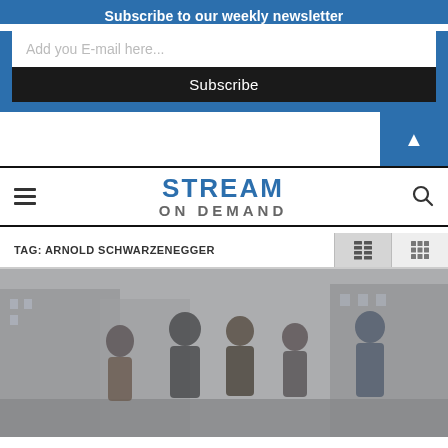Subscribe to our weekly newsletter
Add you E-mail here...
Subscribe
[Figure (logo): Stream On Demand site logo with hamburger menu and search icon]
TAG: ARNOLD SCHWARZENEGGER
[Figure (photo): Movie still showing a group of people standing in an urban street setting, appears to be from The Expendables film]